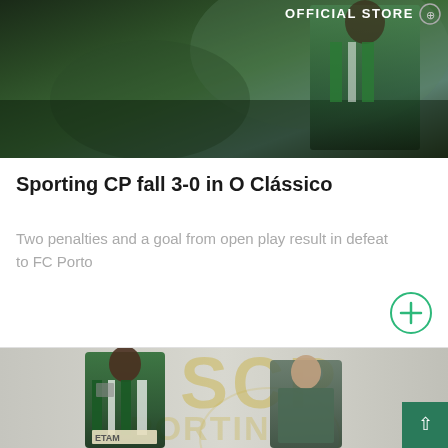[Figure (photo): Football/soccer action photo with player in green Sporting CP kit against dark background, with OFFICIAL STORE text and icon in top right corner]
Sporting CP fall 3-0 in O Clássico
Two penalties and a goal from open play result in defeat to FC Porto
[Figure (photo): Photo of a footballer in Sporting CP green kit with a staff member standing in front of the Sporting CP (SCP) logo backdrop]